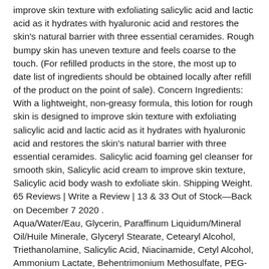improve skin texture with exfoliating salicylic acid and lactic acid as it hydrates with hyaluronic acid and restores the skin's natural barrier with three essential ceramides. Rough bumpy skin has uneven texture and feels coarse to the touch. (For refilled products in the store, the most up to date list of ingredients should be obtained locally after refill of the product on the point of sale). Concern Ingredients: With a lightweight, non-greasy formula, this lotion for rough skin is designed to improve skin texture with exfoliating salicylic acid and lactic acid as it hydrates with hyaluronic acid and restores the skin's natural barrier with three essential ceramides. Salicylic acid foaming gel cleanser for smooth skin, Salicylic acid cream to improve skin texture, Salicylic acid body wash to exfoliate skin. Shipping Weight. 65 Reviews | Write a Review | 13 & 33 Out of Stock—Back on December 7 2020 . Aqua/Water/Eau, Glycerin, Paraffinum Liquidum/Mineral Oil/Huile Minerale, Glyceryl Stearate, Cetearyl Alcohol, Triethanolamine, Salicylic Acid, Niacinamide, Cetyl Alcohol, Ammonium Lactate, Behentrimonium Methosulfate, PEG-100 Stearate, Zea Mays Oil/Corn Oil/Sorte de HP Corn/Huile De...